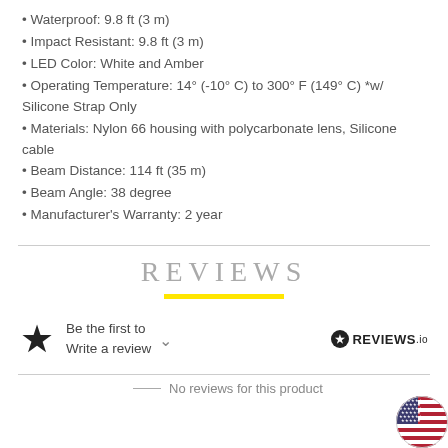• Waterproof: 9.8 ft (3 m)
• Impact Resistant: 9.8 ft (3 m)
• LED Color: White and Amber
• Operating Temperature: 14° (-10° C) to 300° F (149° C) *w/ Silicone Strap Only
• Materials: Nylon 66 housing with polycarbonate lens, Silicone cable
• Beam Distance: 114 ft (35 m)
• Beam Angle: 38 degree
• Manufacturer's Warranty: 2 year
REVIEWS
Be the first to Write a review
No reviews for this product